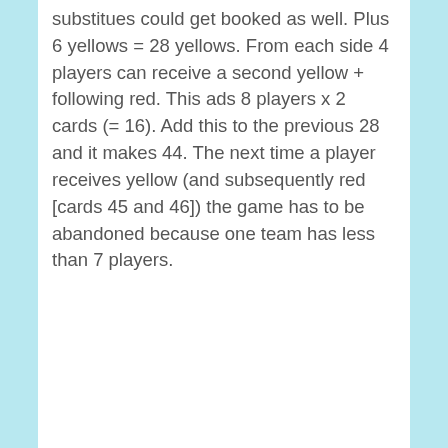substitues could get booked as well. Plus 6 yellows = 28 yellows. From each side 4 players can receive a second yellow + following red. This ads 8 players x 2 cards (= 16). Add this to the previous 28 and it makes 44. The next time a player receives yellow (and subsequently red [cards 45 and 46]) the game has to be abandoned because one team has less than 7 players.